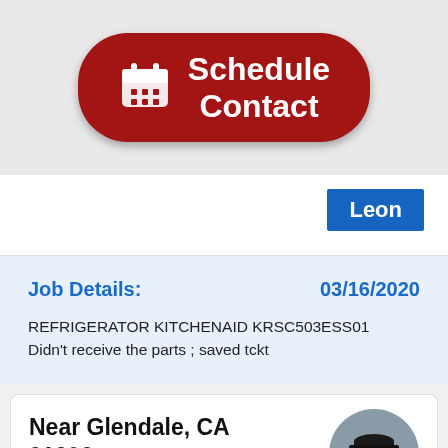[Figure (screenshot): Red rounded button with calendar icon and text 'Schedule Contact' on grey background]
Leon
Job Details:
03/16/2020
REFRIGERATOR KITCHENAID KRSC503ESS01
Didn't receive the parts ; saved tckt
Near Glendale, CA
91206
[Figure (photo): Circular avatar photo of a technician wearing a dark cap and uniform]